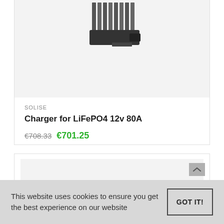[Figure (photo): Product image of a charger for LiFePO4 12v 80A — dark metallic heatsink device visible at top]
SOLISE
Charger for LiFePO4 12v 80A
€708.33  €701.25
[Figure (photo): Second product card image area, mostly empty light gray placeholder]
This website uses cookies to ensure you get the best experience on our website
GOT IT!